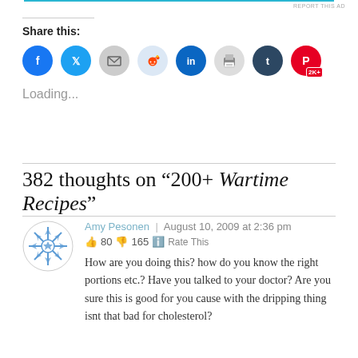REPORT THIS AD
Share this:
[Figure (infographic): Row of social sharing buttons: Facebook (blue), Twitter (blue), Email (gray), Reddit (light blue), LinkedIn (dark blue), Print (gray), Tumblr (dark navy), Pinterest (red) with 2K+ badge]
Loading...
382 thoughts on “200+ Wartime Recipes”
Amy Pesonen | August 10, 2009 at 2:36 pm
👍 80 👎 165 ℹ Rate This
How are you doing this? how do you know the right portions etc.? Have you talked to your doctor? Are you sure this is good for you cause with the dripping thing isnt that bad for cholesterol?